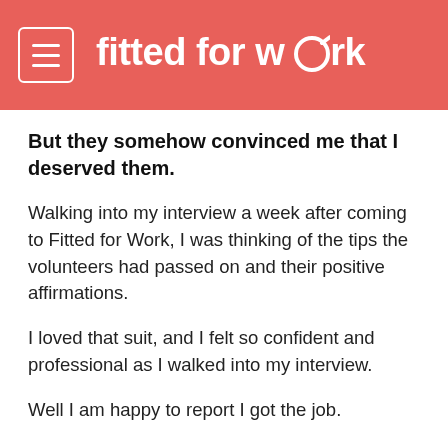fitted for work
But they somehow convinced me that I deserved them.
Walking into my interview a week after coming to Fitted for Work, I was thinking of the tips the volunteers had passed on and their positive affirmations.
I loved that suit, and I felt so confident and professional as I walked into my interview.
Well I am happy to report I got the job.
And getting my first professional job has set me off on a